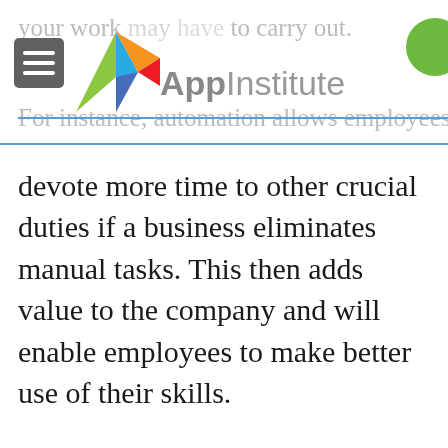AppInstitute
your work may have to carry out. For instance, automation allows employees to devote more time to other crucial duties if a business eliminates manual tasks. This then adds value to the company and will enable employees to make better use of their skills.